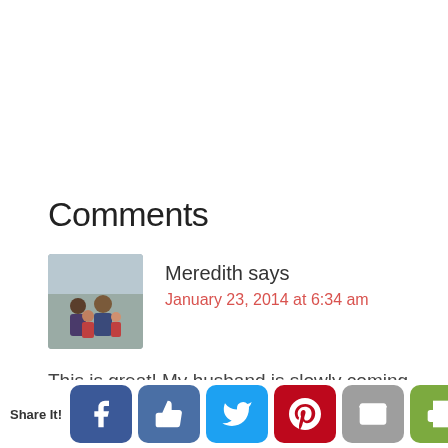Comments
Meredith says
January 23, 2014 at 6:34 am
[Figure (photo): Avatar photo of a family with adults and children outdoors]
This is great! My husband is slowly coming around to real food changes that have been creeping into our house. :)